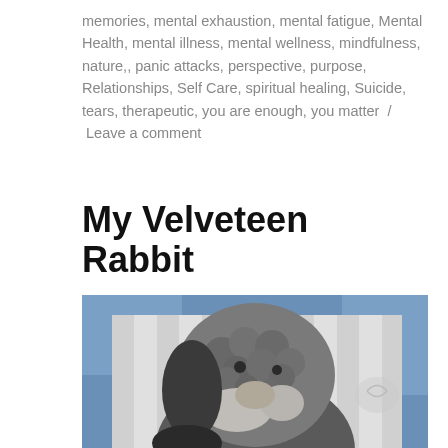memories, mental exhaustion, mental fatigue, Mental Health, mental illness, mental wellness, mindfulness, nature,, panic attacks, perspective, purpose, Relationships, Self Care, spiritual healing, Suicide, tears, therapeutic, you are enough, you matter / Leave a comment
My Velveteen Rabbit
[Figure (photo): Close-up photo of a worn, curly gray stuffed rabbit toy resting against striped gray and white pillows, with a blue fabric visible in the background. The rabbit appears old and well-loved, with textured curly fur in gray and white tones.]